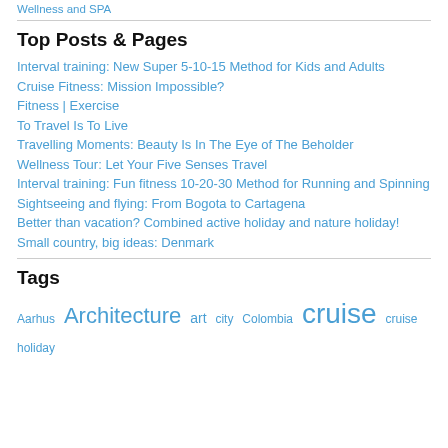Wellness and SPA
Top Posts & Pages
Interval training: New Super 5-10-15 Method for Kids and Adults
Cruise Fitness: Mission Impossible?
Fitness | Exercise
To Travel Is To Live
Travelling Moments: Beauty Is In The Eye of The Beholder
Wellness Tour: Let Your Five Senses Travel
Interval training: Fun fitness 10-20-30 Method for Running and Spinning
Sightseeing and flying: From Bogota to Cartagena
Better than vacation? Combined active holiday and nature holiday!
Small country, big ideas: Denmark
Tags
Aarhus Architecture art city Colombia cruise cruise holiday